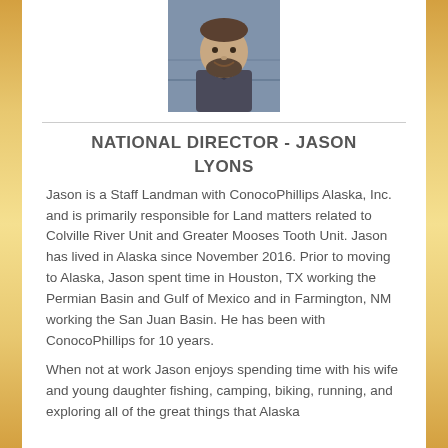[Figure (photo): Headshot photo of Jason Lyons, a man with a beard, smiling, wearing a dark jacket, with a blurred background.]
NATIONAL DIRECTOR - JASON LYONS
Jason is a Staff Landman with ConocoPhillips Alaska, Inc. and is primarily responsible for Land matters related to Colville River Unit and Greater Mooses Tooth Unit. Jason has lived in Alaska since November 2016. Prior to moving to Alaska, Jason spent time in Houston, TX working the Permian Basin and Gulf of Mexico and in Farmington, NM working the San Juan Basin. He has been with ConocoPhillips for 10 years.
When not at work Jason enjoys spending time with his wife and young daughter fishing, camping, biking, running, and exploring all of the great things that Alaska